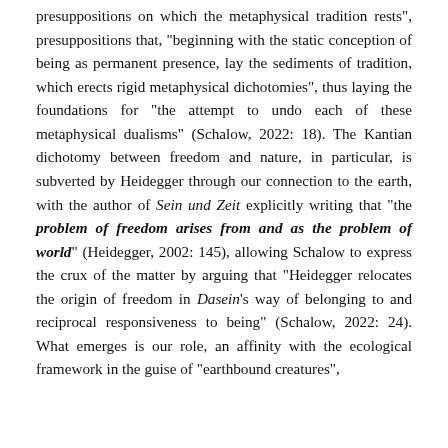presuppositions on which the metaphysical tradition rests", presuppositions that, "beginning with the static conception of being as permanent presence, lay the sediments of tradition, which erects rigid metaphysical dichotomies", thus laying the foundations for "the attempt to undo each of these metaphysical dualisms" (Schalow, 2022: 18). The Kantian dichotomy between freedom and nature, in particular, is subverted by Heidegger through our connection to the earth, with the author of Sein und Zeit explicitly writing that "the problem of freedom arises from and as the problem of world" (Heidegger, 2002: 145), allowing Schalow to express the crux of the matter by arguing that "Heidegger relocates the origin of freedom in Dasein's way of belonging to and reciprocal responsiveness to being" (Schalow, 2022: 24). What emerges is our role, an affinity with the ecological framework in the guise of "earthbound creatures",